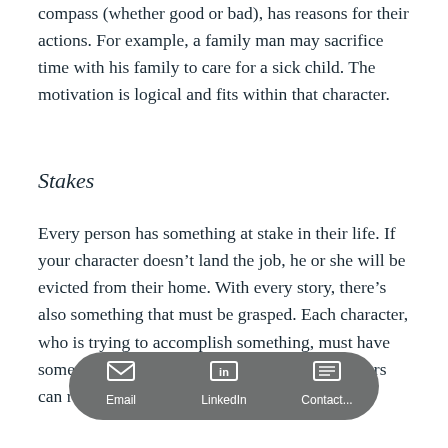compass (whether good or bad), has reasons for their actions. For example, a family man may sacrifice time with his family to care for a sick child. The motivation is logical and fits within that character.
Stakes
Every person has something at stake in their life. If your character doesn't land the job, he or she will be evicted from their home. With every story, there's also something that must be grasped. Each character, who is trying to accomplish something, must have something at stake attach... intere... Your readers can relate to feelings of